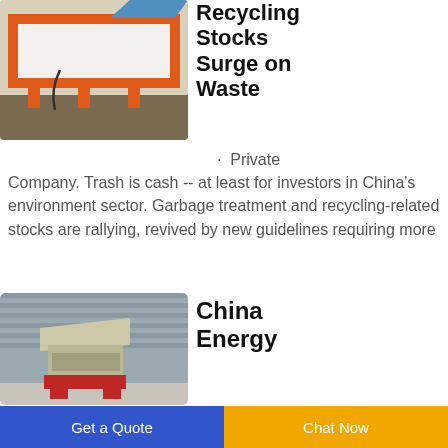[Figure (photo): Industrial recycling machine with orange metal frame on a factory floor]
Recycling Stocks Surge on Waste
· Private Company. Trash is cash -- at least for investors in China's environment sector. Garbage treatment and recycling-related stocks are rallying, revived by new guidelines requiring more
[Figure (photo): Red and beige industrial shredder/crusher machine in front of a corrugated metal wall]
China Energy
Get a Quote
Chat Now